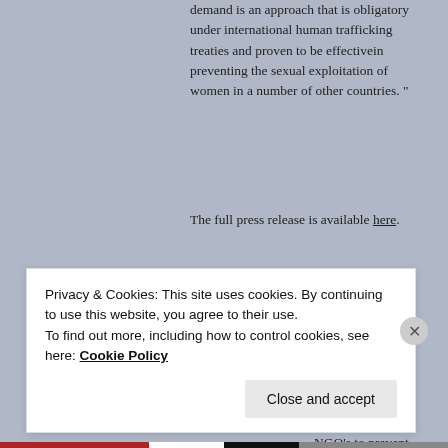demand is an approach that is obligatory under international human trafficking treaties and proven to be effectivein preventing the sexual exploitation of women in a number of other countries. "
The full press release is available here.
Related
Northern Ireland Human Trafficking and Exploitation Act entered into force
June 3, 2015
Disrupt Demand seminar: 'Collaboration between law enforcement and NGO's to prevent and...
Privacy & Cookies: This site uses cookies. By continuing to use this website, you agree to their use.
To find out more, including how to control cookies, see here: Cookie Policy
Close and accept